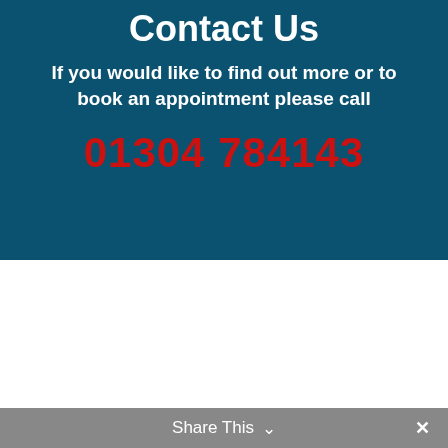Contact Us
If you would like to find out more or to book an appointment please call
01304 784143
Share This ∨  ✕